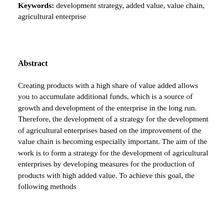Keywords: development strategy, added value, value chain, agricultural enterprise
Abstract
Creating products with a high share of value added allows you to accumulate additional funds, which is a source of growth and development of the enterprise in the long run. Therefore, the development of a strategy for the development of agricultural enterprises based on the improvement of the value chain is becoming especially important. The aim of the work is to form a strategy for the development of agricultural enterprises by developing measures for the production of products with high added value. To achieve this goal, the following methods